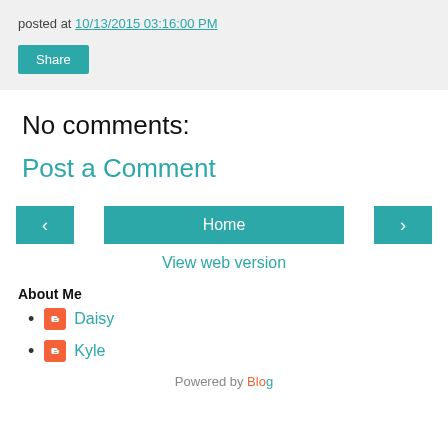posted at 10/13/2015 03:16:00 PM
Share
No comments:
Post a Comment
< Home >
View web version
About Me
Daisy
Kyle
Powered by Blogger